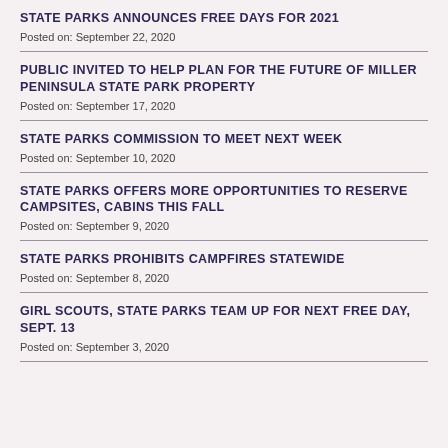STATE PARKS ANNOUNCES FREE DAYS FOR 2021
Posted on: September 22, 2020
PUBLIC INVITED TO HELP PLAN FOR THE FUTURE OF MILLER PENINSULA STATE PARK PROPERTY
Posted on: September 17, 2020
STATE PARKS COMMISSION TO MEET NEXT WEEK
Posted on: September 10, 2020
STATE PARKS OFFERS MORE OPPORTUNITIES TO RESERVE CAMPSITES, CABINS THIS FALL
Posted on: September 9, 2020
STATE PARKS PROHIBITS CAMPFIRES STATEWIDE
Posted on: September 8, 2020
GIRL SCOUTS, STATE PARKS TEAM UP FOR NEXT FREE DAY, SEPT. 13
Posted on: September 3, 2020